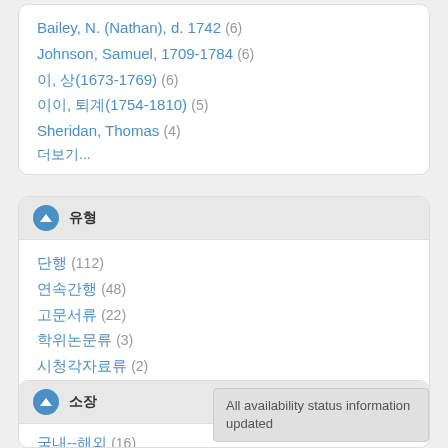Bailey, N. (Nathan), d. 1742 (6)
Johnson, Samuel, 1709-1784 (6)
이, 상(1673-1769) (6)
이이, 퇴계(1754-1810) (5)
Sheridan, Thomas (4)
더보기...
유형
단행 (112)
연속간행 (48)
고문서류 (22)
학위논문류 (3)
시청각자료류 (2)
더보기...
소장
국내--해외 (16)
All availability status information updated